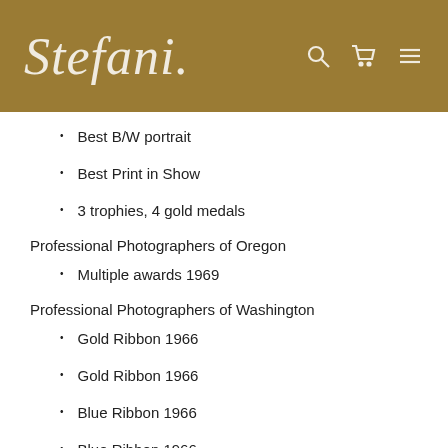Stefani
Best B/W portrait
Best Print in Show
3 trophies, 4 gold medals
Professional Photographers of Oregon
Multiple awards 1969
Professional Photographers of Washington
Gold Ribbon 1966
Gold Ribbon 1966
Blue Ribbon 1966
Blue Ribbon 1966